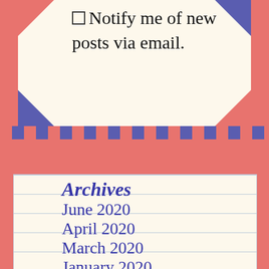☐ Notify me of new posts via email.
Archives
June 2020
April 2020
March 2020
January 2020
December 2019